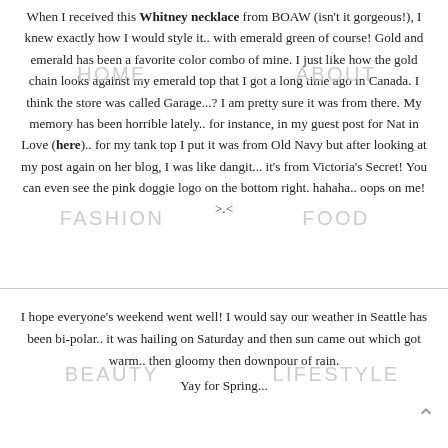When I received this Whitney necklace from BOAW (isn't it gorgeous!), I knew exactly how I would style it.. with emerald green of course! Gold and emerald has been a favorite color combo of mine. I just like how the gold chain looks against my emerald top that I got a long time ago in Canada. I think the store was called Garage...? I am pretty sure it was from there. My memory has been horrible lately.. for instance, in my guest post for Nat in Love (here).. for my tank top I put it was from Old Navy but after looking at my post again on her blog, I was like dangit... it's from Victoria's Secret! You can even see the pink doggie logo on the bottom right. hahaha.. oops on me! >.<
HOME   ABOUT   FASHION   FOOD   BEAUTY   LIFESTYLE   CONTACT
I hope everyone's weekend went well! I would say our weather in Seattle has been bi-polar.. it was hailing on Saturday and then sun came out which got warm.. then gloomy then downpour of rain.
Yay for Spring...